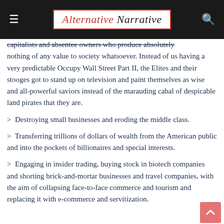Alternative Narrative
capitalists and absentee owners who produce absolutely nothing of any value to society whatsoever. Instead of us having a very predictable Occupy Wall Street Part II, the Elites and their stooges got to stand up on television and paint themselves as wise and all-powerful saviors instead of the marauding cabal of despicable land pirates that they are.
> Destroying small businesses and eroding the middle class.
> Transferring trillions of dollars of wealth from the American public and into the pockets of billionaires and special interests.
> Engaging in insider trading, buying stock in biotech companies and shorting brick-and-mortar businesses and travel companies, with the aim of collapsing face-to-face commerce and tourism and replacing it with e-commerce and servitization.